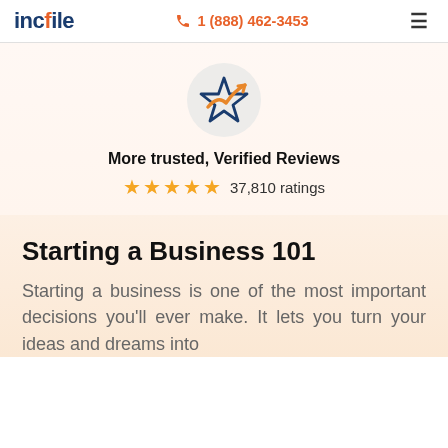incfile  1 (888) 462-3453
[Figure (logo): Trustpilot-style star logo with navy blue star outline and orange checkmark arrow, inside a light gray circle]
More trusted, Verified Reviews
★★★★★ 37,810 ratings
Starting a Business 101
Starting a business is one of the most important decisions you'll ever make. It lets you turn your ideas and dreams into